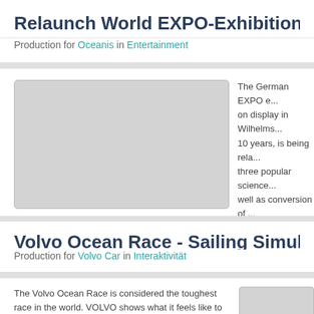Relaunch World EXPO-Exhibition "OCEANIS...
Production for Oceanis in Entertainment
[Figure (photo): Gray placeholder image for the EXPO-Exhibition article]
The German EXPO e... on display in Wilhelms... 10 years, is being rela... three popular science... well as conversion of... the Greater Simulator...
Read more...
Volvo Ocean Race - Sailing Simulator Aroun...
Production for Volvo Car in Interaktivität
The Volvo Ocean Race is considered the toughest race in the world. VOLVO shows what it feels like to sail on stormy sea with the fastest boats in the world. PINKAU developed and produced a sailing simulator on a hydraulic platform and a sailing movie. VOLVO presents
[Figure (photo): Gray placeholder image for the Volvo Ocean Race article]